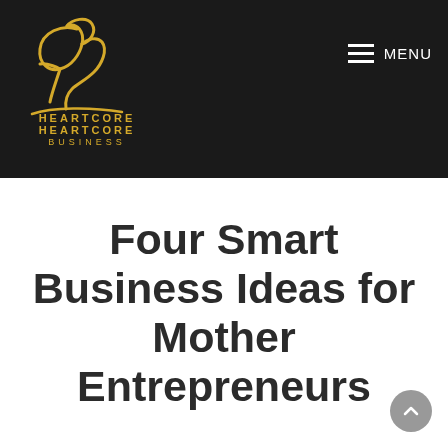HEARTCORE BUSINESS — MENU
[Figure (logo): Heartcore Business logo: gold cursive letter R/h script mark above text HEARTCORE BUSINESS in gold capital letters on dark background]
Four Smart Business Ideas for Mother Entrepreneurs